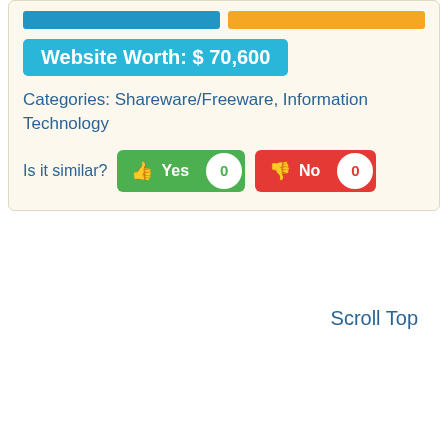Website Worth: $ 70,600
Categories: Shareware/Freeware, Information Technology
Is it similar?   Yes 0   No 0
Scroll Top